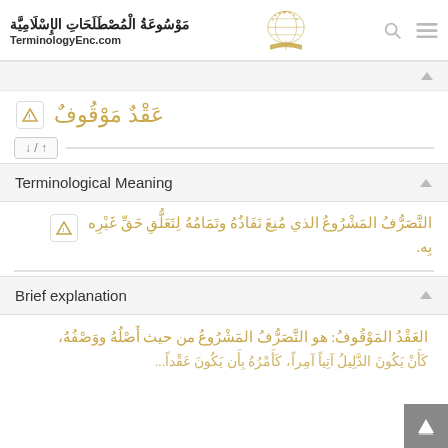موسوعة المصطلحات الإسلامية | TerminologyEnc.com
عَقْدٌ مَوْقُوفٌ
١ / ١
Terminological Meaning
التَّصَرُّفُ المَشْرُوعُ الذي مُنِعَ نَفَاذُهُ وتَمَامُهُ لِتَعَلُّقِ حَقِّ غَيْرِه بِه.
Brief explanation
العَقْدُ المَوْقُوفُ: هو التَّصَرُّفُ المَشْرُوعُ من حيث أَصْلُهُ ووَصْفُهُ،